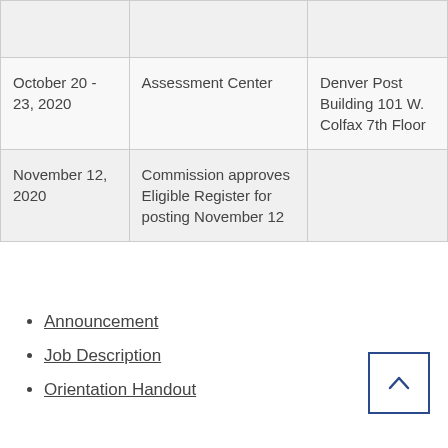| Date | Event | Location |
| --- | --- | --- |
|  |  |  |
| October 20 - 23, 2020 | Assessment Center | Denver Post Building 101 W. Colfax 7th Floor |
| November 12, 2020 | Commission approves Eligible Register for posting November 12 |  |
Announcement
Job Description
Orientation Handout